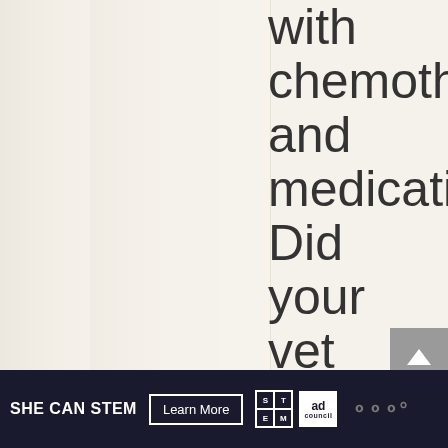with chemotherapy and medication. Did your vet say what your treatment options are and how likely it
[Figure (screenshot): Advertisement banner: SHE CAN STEM with Learn More button, STEM grid logo, Ad Council logo, and wordmark]